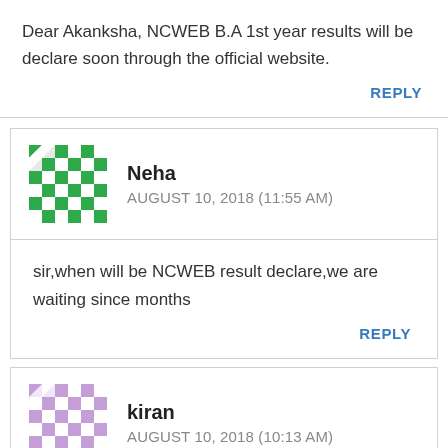Dear Akanksha, NCWEB B.A 1st year results will be declare soon through the official website.
REPLY
Neha
AUGUST 10, 2018 (11:55 AM)
sir,when will be NCWEB result declare,we are waiting since months
REPLY
kiran
AUGUST 10, 2018 (10:13 AM)